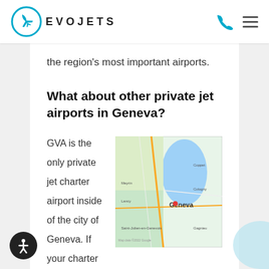EVO JETS
the region’s most important airports.
What about other private jet airports in Geneva?
GVA is the only private jet charter airport inside of the city of Geneva. If your charter flight to Geneva needs to be diverted, Annecy Airport (LFLP /
[Figure (map): Google Maps screenshot showing Geneva region with lake and surrounding areas]